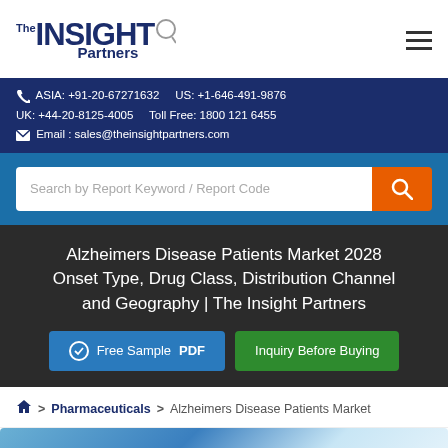The INSIGHT Partners | ASIA: +91-20-67271632 | US: +1-646-491-9876 | UK: +44-20-8125-4005 | Toll Free: 1800 121 6455 | Email: sales@theinsightpartners.com
Alzheimers Disease Patients Market 2028 Onset Type, Drug Class, Distribution Channel and Geography | The Insight Partners
Free Sample PDF | Inquiry Before Buying
Home > Pharmaceuticals > Alzheimers Disease Patients Market
[Figure (photo): Partial image of Alzheimers Disease Patients Market report cover with blue/teal color scheme]